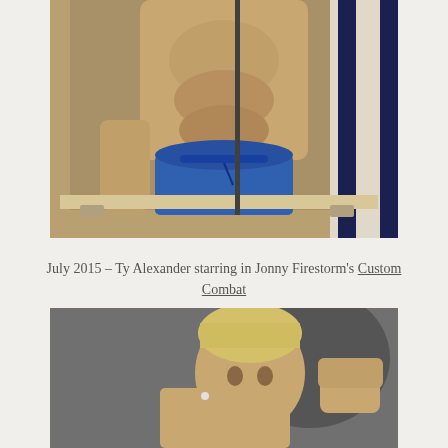[Figure (photo): A man photographed in a bathroom mirror, wearing blue swim briefs, showing his torso and abs. Striped curtain visible in the background.]
July 2015 – Ty Alexander starring in Jonny Firestorm's Custom Combat
[Figure (photo): A blonde man with short hair and an earring, raising his fist in a flexing pose against a dark grey background.]